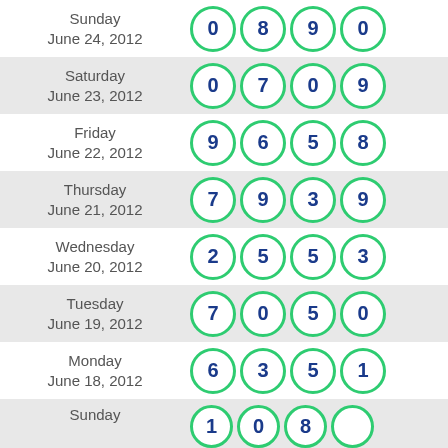| Date | Numbers |
| --- | --- |
| Sunday June 24, 2012 | 0 8 9 0 |
| Saturday June 23, 2012 | 0 7 0 9 |
| Friday June 22, 2012 | 9 6 5 8 |
| Thursday June 21, 2012 | 7 9 3 9 |
| Wednesday June 20, 2012 | 2 5 5 3 |
| Tuesday June 19, 2012 | 7 0 5 0 |
| Monday June 18, 2012 | 6 3 5 1 |
| Sunday ... | 1 0 8 ? |